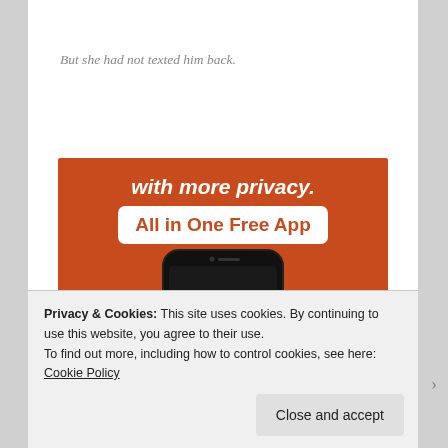But she had not texted him back.
[Figure (screenshot): DuckDuckGo advertisement banner showing 'with more privacy. All in One Free App' text over orange background with a smartphone displaying the DuckDuckGo duck logo]
Privacy & Cookies: This site uses cookies. By continuing to use this website, you agree to their use.
To find out more, including how to control cookies, see here: Cookie Policy